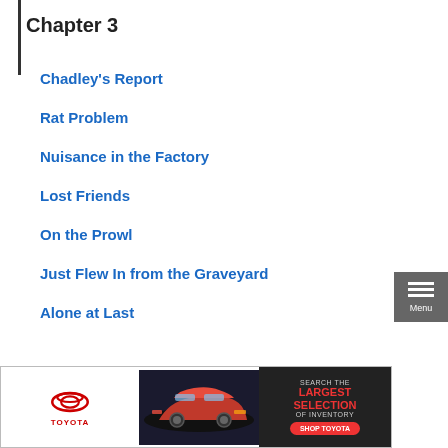Chapter 3
Chadley's Report
Rat Problem
Nuisance in the Factory
Lost Friends
On the Prowl
Just Flew In from the Graveyard
Alone at Last
Chapter 6
[Figure (other): Toyota advertisement banner with Toyota logo, car image, and text reading 'SEARCH THE LARGEST SELECTION OF INVENTORY – SHOP TOYOTA']